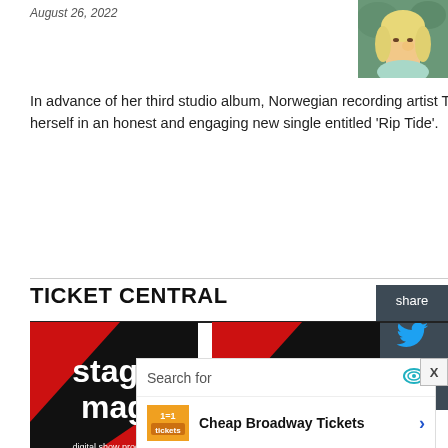August 26, 2022
[Figure (photo): Photo of a blonde woman posing with hand near face, wearing a light blue top, against a green background]
In advance of her third studio album, Norwegian recording artist Thea & the Wild confronts her least favorite parts of herself in an honest and engaging new single entitled ‘Rip Tide’.
TICKET CENTRAL
[Figure (illustration): Stage Mag digital show program logo - red and black with white text reading 'stage mag' and subtitle 'digital show program']
[Figure (illustration): Stage Mag digital show program logo - red and black with white text reading 'stage mag' and subtitle 'digital show program']
STAGE MAG
HADESTOWN
STAGE MAG
MJ, THE MUSICAL
[Figure (screenshot): Advertisement overlay showing search for 'Cheap Broadway Tickets' and 'Broadway Show Tickets' with Glocal Search branding]